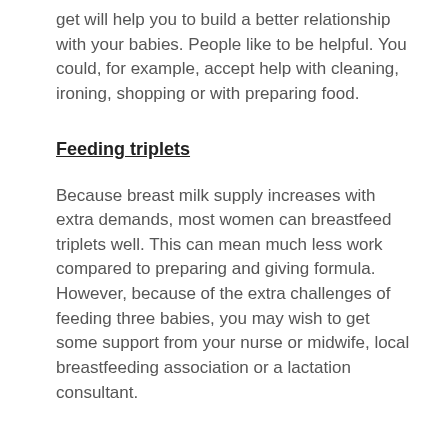get will help you to build a better relationship with your babies. People like to be helpful. You could, for example, accept help with cleaning, ironing, shopping or with preparing food.
Feeding triplets
Because breast milk supply increases with extra demands, most women can breastfeed triplets well. This can mean much less work compared to preparing and giving formula. However, because of the extra challenges of feeding three babies, you may wish to get some support from your nurse or midwife, local breastfeeding association or a lactation consultant.